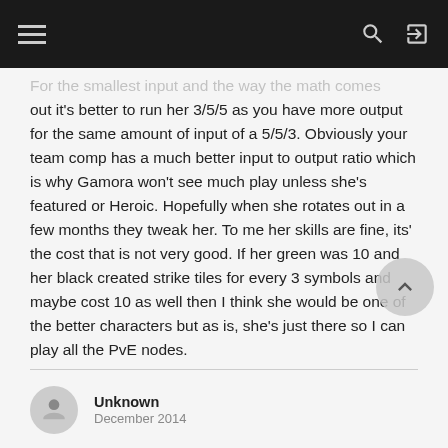For the smallest input and the way the math comes out it's better to run her 3/5/5 as you have more output for the same amount of input of a 5/5/3. Obviously your team comp has a much better input to output ratio which is why Gamora won't see much play unless she's featured or Heroic. Hopefully when she rotates out in a few months they tweak her. To me her skills are fine, its' the cost that is not very good. If her green was 10 and her black created strike tiles for every 3 symbols and maybe cost 10 as well then I think she would be one of the better characters but as is, she's just there so I can play all the PvE nodes.
Unknown
December 2014